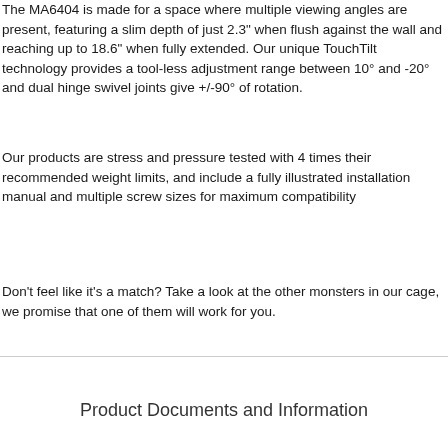The MA6404 is made for a space where multiple viewing angles are present, featuring a slim depth of just 2.3" when flush against the wall and reaching up to 18.6" when fully extended. Our unique TouchTilt technology provides a tool-less adjustment range between 10° and -20° and dual hinge swivel joints give +/-90° of rotation.
Our products are stress and pressure tested with 4 times their recommended weight limits, and include a fully illustrated installation manual and multiple screw sizes for maximum compatibility
Don't feel like it's a match? Take a look at the other monsters in our cage, we promise that one of them will work for you.
Product Documents and Information